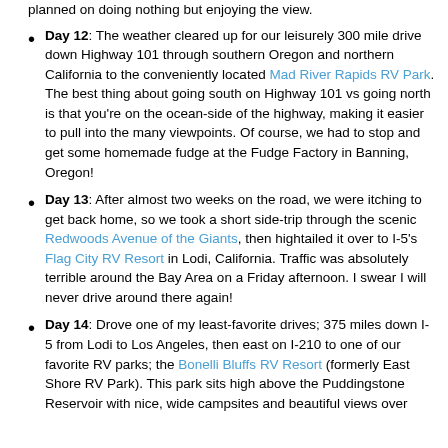planned on doing nothing but enjoying the view.
Day 12: The weather cleared up for our leisurely 300 mile drive down Highway 101 through southern Oregon and northern California to the conveniently located Mad River Rapids RV Park. The best thing about going south on Highway 101 vs going north is that you're on the ocean-side of the highway, making it easier to pull into the many viewpoints. Of course, we had to stop and get some homemade fudge at the Fudge Factory in Banning, Oregon!
Day 13: After almost two weeks on the road, we were itching to get back home, so we took a short side-trip through the scenic Redwoods Avenue of the Giants, then hightailed it over to I-5's Flag City RV Resort in Lodi, California. Traffic was absolutely terrible around the Bay Area on a Friday afternoon. I swear I will never drive around there again!
Day 14: Drove one of my least-favorite drives; 375 miles down I-5 from Lodi to Los Angeles, then east on I-210 to one of our favorite RV parks; the Bonelli Bluffs RV Resort (formerly East Shore RV Park). This park sits high above the Puddingstone Reservoir with nice, wide campsites and beautiful views over